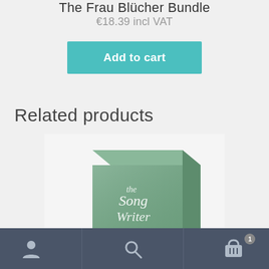The Frau Blücher Bundle
€18.39 incl VAT
Add to cart
Related products
[Figure (photo): Product box for 'The Song Writer' with a green gradient cover design showing script text]